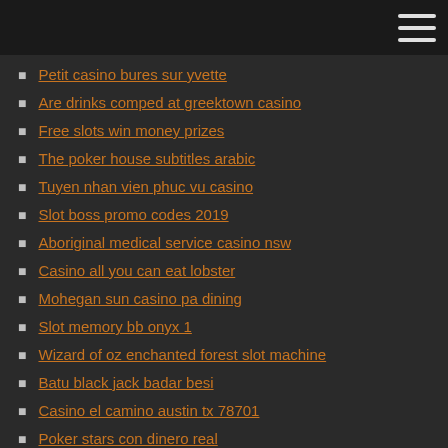Petit casino bures sur yvette
Are drinks comped at greektown casino
Free slots win money prizes
The poker house subtitles arabic
Tuyen nhan vien phuc vu casino
Slot boss promo codes 2019
Aboriginal medical service casino nsw
Casino all you can eat lobster
Mohegan sun casino pa dining
Slot memory bb onyx 1
Wizard of oz enchanted forest slot machine
Batu black jack badar besi
Casino el camino austin tx 78701
Poker stars con dinero real